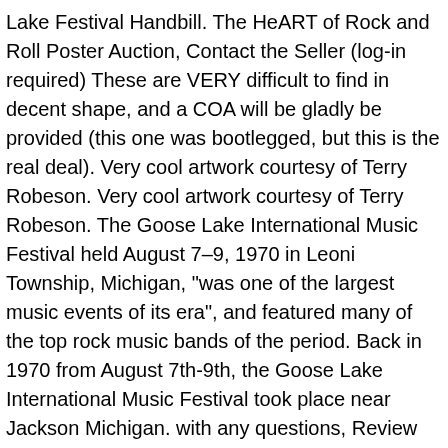Lake Festival Handbill. The HeART of Rock and Roll Poster Auction, Contact the Seller (log-in required) These are VERY difficult to find in decent shape, and a COA will be gladly be provided (this one was bootlegged, but this is the real deal). Very cool artwork courtesy of Terry Robeson. Very cool artwork courtesy of Terry Robeson. The Goose Lake International Music Festival held August 7–9, 1970 in Leoni Township, Michigan, "was one of the largest music events of its era", and featured many of the top rock music bands of the period. Back in 1970 from August 7th-9th, the Goose Lake International Music Festival took place near Jackson Michigan. with any questions, Review and understand the bidding process including. You know what to do. Goose Lake Music Festival - Tie-dye T-shirt X-Large - Black. Free standard shipping in the US today only. It's a young people's fair." Copyright © 2020 auction.sixtiesposters.com. Goose Lake Park, Jackson MI is one of more than 300 live performance venues listed in the Classic Posters Search by Venue Index. Goose